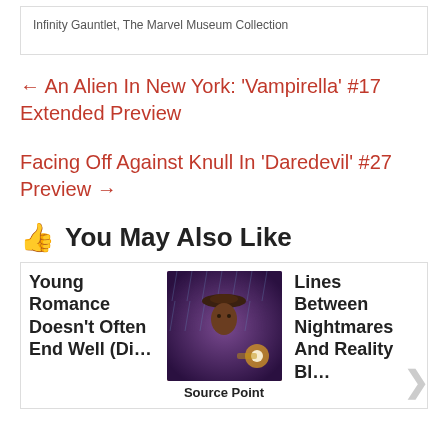Infinity Gauntlet, The Marvel Museum Collection
← An Alien In New York: 'Vampirella' #17 Extended Preview
Facing Off Against Knull In 'Daredevil' #27 Preview →
👍 You May Also Like
Young Romance Doesn't Often End Well (Di…
[Figure (photo): Comic book cover art showing a figure in a hat in rainy scene]
Source Point
Lines Between Nightmares And Reality Bl…